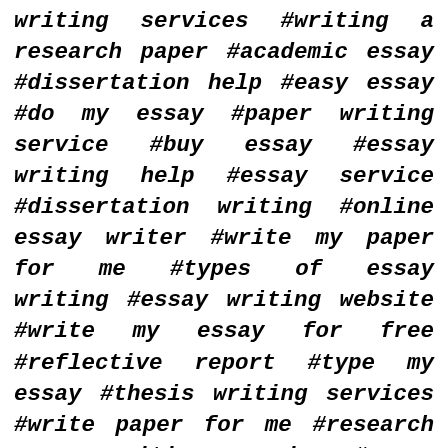writing services #writing a research paper #academic essay #dissertation help #easy essay #do my essay #paper writing service #buy essay #essay writing help #essay service #dissertation writing #online essay writer #write my paper for me #types of essay writing #essay writing website #write my essay for free #reflective report #type my essay #thesis writing services #write paper for me #research paper writing service #essay paper #professional essay writers #write my essay online #essay help online #write my research paper #dissertation writing help #websites that write papers for you for free #write my essay for me cheap #pay someone to write